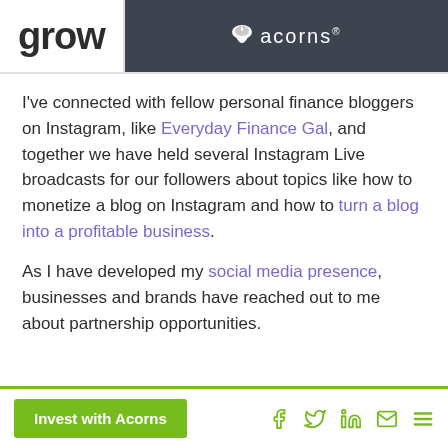grow | acorns®
I've connected with fellow personal finance bloggers on Instagram, like Everyday Finance Gal, and together we have held several Instagram Live broadcasts for our followers about topics like how to monetize a blog on Instagram and how to turn a blog into a profitable business.
As I have developed my social media presence, businesses and brands have reached out to me about partnership opportunities.
Invest with Acorns